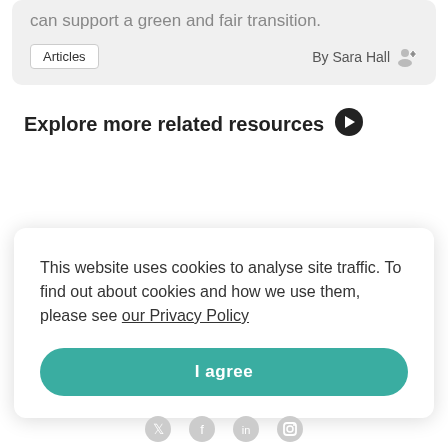can support a green and fair transition.
Articles
By Sara Hall
Explore more related resources ❯
This website uses cookies to analyse site traffic. To find out about cookies and how we use them, please see our Privacy Policy
I agree